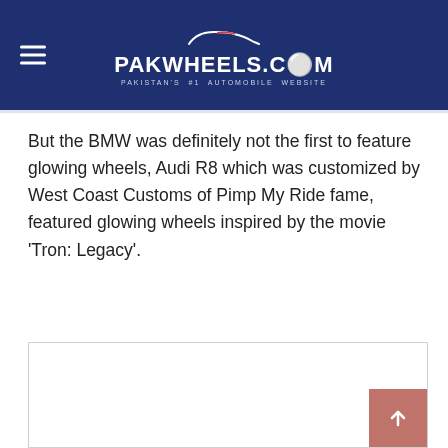PAKWHEELS.COM — PAKISTAN'S #1 AUTOMOBILE WEBSITE
But the BMW was definitely not the first to feature glowing wheels, Audi R8 which was customized by West Coast Customs of Pimp My Ride fame, featured glowing wheels inspired by the movie 'Tron: Legacy'.
[Figure (photo): Empty image placeholder box with border, scroll-to-top button visible in lower right corner]